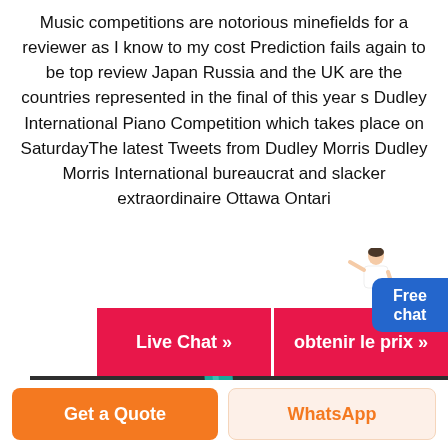Music competitions are notorious minefields for a reviewer as I know to my cost Prediction fails again to be top review Japan Russia and the UK are the countries represented in the final of this year s Dudley International Piano Competition which takes place on SaturdayThe latest Tweets from Dudley Morris Dudley Morris International bureaucrat and slacker extraordinaire Ottawa Ontari
[Figure (infographic): Free chat widget with person icon on the right side]
[Figure (infographic): Two red CTA buttons: 'Live Chat »' and 'obtenir le prix »']
[Figure (photo): Close-up photo of a teal/blue tool or pen against dark mechanical rollers]
[Figure (infographic): Bottom bar with two buttons: orange 'Get a Quote' button and light orange 'WhatsApp' button]